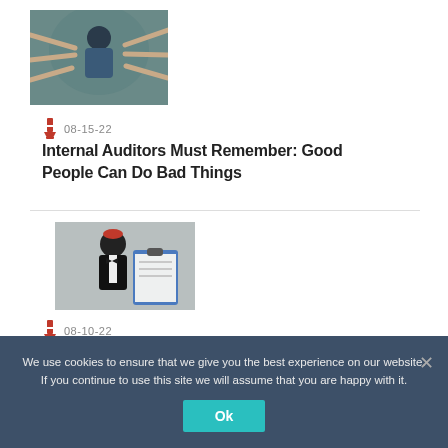[Figure (photo): Multiple hands pointing fingers at a person wearing a blue hoodie against a teal background]
08-15-22
Internal Auditors Must Remember: Good People Can Do Bad Things
[Figure (photo): Person in formal suit and bow tie with a clipboard, wearing a red accessory on head]
08-10-22
You Don't Have to Be a Clown to Audit the Circus
We use cookies to ensure that we give you the best experience on our website. If you continue to use this site we will assume that you are happy with it.